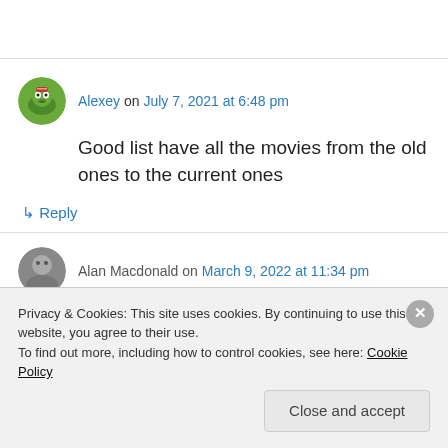Alexey on July 7, 2021 at 6:48 pm
Good list have all the movies from the old ones to the current ones
↳ Reply
Alan Macdonald on March 9, 2022 at 11:34 pm
Privacy & Cookies: This site uses cookies. By continuing to use this website, you agree to their use.
To find out more, including how to control cookies, see here: Cookie Policy
Close and accept